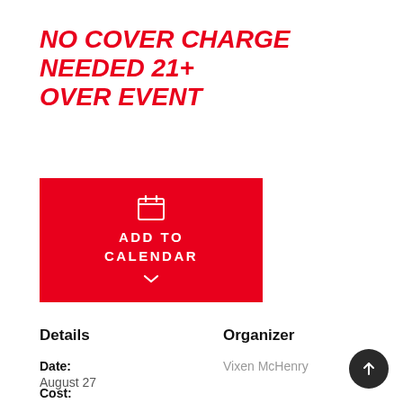NO COVER CHARGE NEEDED 21+ OVER EVENT
[Figure (illustration): Red button with calendar icon, text ADD TO CALENDAR, and a chevron arrow below]
Details
Date: August 27
Cost: Free
Organizer
Vixen McHenry